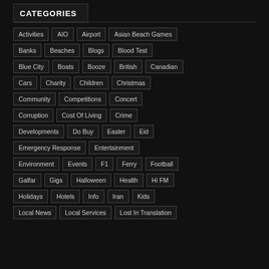CATEGORIES
Activities
AIO
Airport
Asian Beach Games
Banks
Beaches
Blogs
Blood Test
Blue City
Boats
Booze
British
Canadian
Cars
Charity
Children
Christmas
Community
Competitions
Concert
Corruption
Cost Of Living
Crime
Developments
Do Buy
Easter
Eid
Emergency Response
Entertainment
Environment
Events
F1
Ferry
Football
Galfar
Gigs
Halloween
Health
Hi FM
Holidays
Hotels
Info
Iran
Kids
Local News
Local Services
Lost In Translation